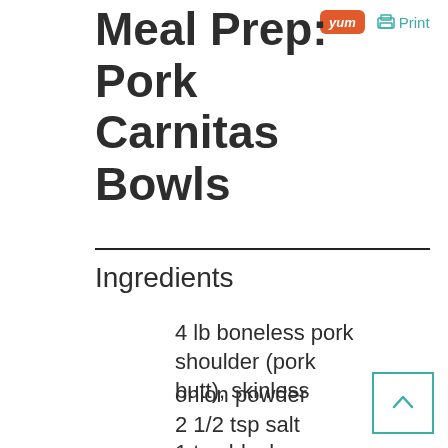Meal Prep: Pork Carnitas Bowls
Ingredients
4 lb boneless pork shoulder (pork butt), skinless
onion powder
2 1/2 tsp salt
1 tsp black pepper
4 cloves garlic, minced
juice of 2 limes
2 oranges, juice only
1 tbsp dried oregano
2 tsp ground cumin